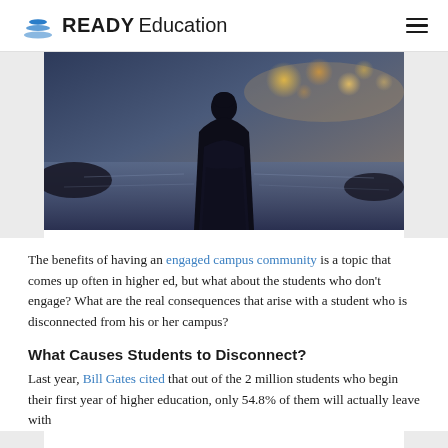READY Education
[Figure (photo): Silhouette of a person standing outdoors at night or dusk, with bokeh lights in the background and a dark, moody atmosphere.]
The benefits of having an engaged campus community is a topic that comes up often in higher ed, but what about the students who don't engage? What are the real consequences that arise with a student who is disconnected from his or her campus?
What Causes Students to Disconnect?
Last year, Bill Gates cited that out of the 2 million students who begin their first year of higher education, only 54.8% of them will actually leave with